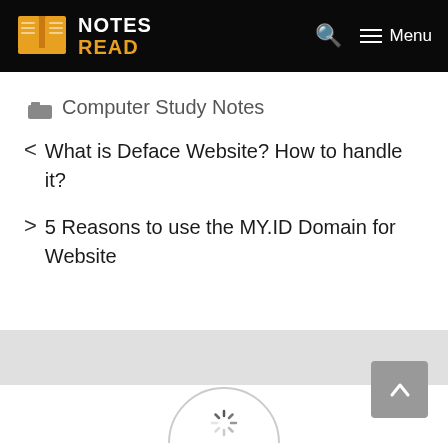NOTES READ
Computer Study Notes
< What is Deface Website? How to handle it?
> 5 Reasons to use the MY.ID Domain for Website
[Figure (other): Loading spinner circle icon at bottom of page]